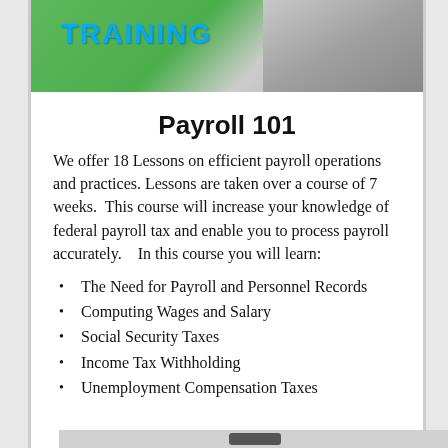[Figure (photo): Training banner image with green background and people, partially visible at top of phone screen]
Payroll 101
We offer 18 Lessons on efficient payroll operations and practices. Lessons are taken over a course of 7 weeks. This course will increase your knowledge of federal payroll tax and enable you to process payroll accurately. In this course you will learn:
The Need for Payroll and Personnel Records
Computing Wages and Salary
Social Security Taxes
Income Tax Withholding
Unemployment Compensation Taxes